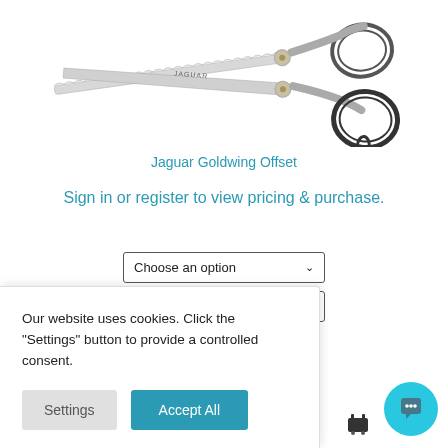[Figure (photo): Product photo of Jaguar Goldwing Offset scissors, silver with gold accent, thinning blade on left and standard blade on right, on white background]
Jaguar Goldwing Offset
Sign in or register to view pricing & purchase.
Choose an option (dropdown 1)
Choose an option (dropdown 2)
Our website uses cookies. Click the "Settings" button to provide a controlled consent.
Settings
Accept All